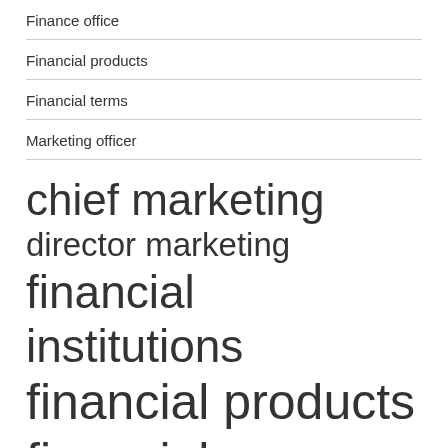Finance office
Financial products
Financial terms
Marketing officer
chief marketing director marketing financial institutions financial products financial services interest rates leadership team long term marketing director marketing officer
marketing officer